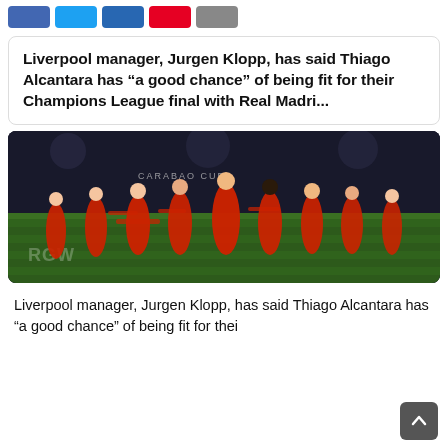[Figure (other): Social media share buttons row: Facebook (blue), Twitter (light blue), LinkedIn (dark blue), Pinterest (red), More (grey)]
Liverpool manager, Jurgen Klopp, has said Thiago Alcantara has “a good chance” of being fit for their Champions League final with Real Madri...
[Figure (photo): Liverpool FC players in red kits celebrating on a football pitch, running together jubilantly. Background shows dark stadium stands and a Carabao Cup banner.]
Liverpool manager, Jurgen Klopp, has said Thiago Alcantara has “a good chance” of being fit for thei